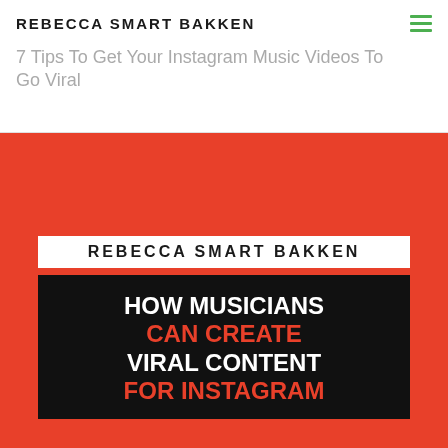REBECCA SMART BAKKEN
7 Tips To Get Your Instagram Music Videos To Go Viral
[Figure (illustration): Promotional graphic on red/orange background with repeating lightning bolt pattern. White strip with 'REBECCA SMART BAKKEN' text above a black rectangle containing the text 'HOW MUSICIANS CAN CREATE VIRAL CONTENT FOR INSTAGRAM' in white and orange bold uppercase letters.]